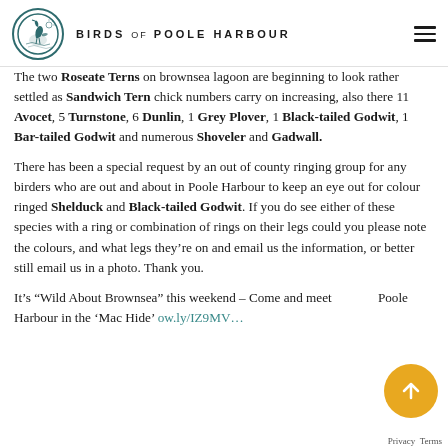BIRDS of POOLE HARBOUR
The two Roseate Terns on Brownsea lagoon are beginning to look rather settled as Sandwich Tern chick numbers carry on increasing, also there 11 Avocet, 5 Turnstone, 6 Dunlin, 1 Grey Plover, 1 Black-tailed Godwit, 1 Bar-tailed Godwit and numerous Shoveler and Gadwall.
There has been a special request by an out of county ringing group for any birders who are out and about in Poole Harbour to keep an eye out for colour ringed Shelduck and Black-tailed Godwit. If you do see either of these species with a ring or combination of rings on their legs could you please note the colours, and what legs they're on and email us the information, or better still email us in a photo. Thank you.
It’s “Wild About Brownsea” this weekend – Come and meet Poole Harbour in the ‘Mac Hide’ ow.ly/IZ9MV...